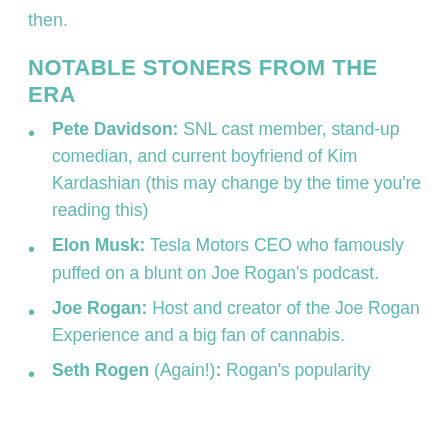then.
NOTABLE STONERS FROM THE ERA
Pete Davidson: SNL cast member, stand-up comedian, and current boyfriend of Kim Kardashian (this may change by the time you're reading this)
Elon Musk: Tesla Motors CEO who famously puffed on a blunt on Joe Rogan's podcast.
Joe Rogan: Host and creator of the Joe Rogan Experience and a big fan of cannabis.
Seth Rogen (Again!): Rogan's popularity